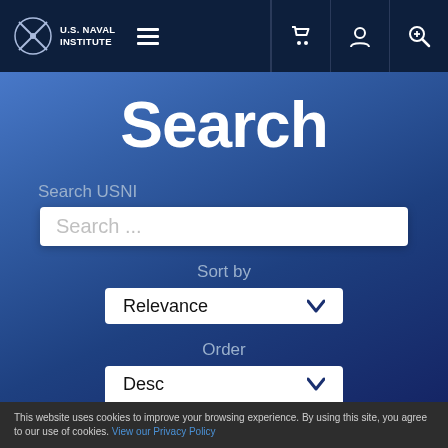U.S. Naval Institute
Search
Search USNI
Search ...
Sort by
Relevance
Order
Desc
This website uses cookies to improve your browsing experience. By using this site, you agree to our use of cookies. View our Privacy Policy